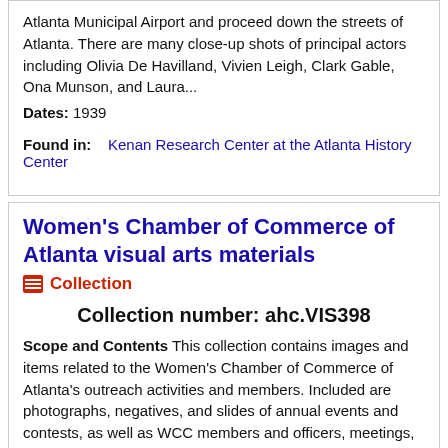Atlanta Municipal Airport and proceed down the streets of Atlanta. There are many close-up shots of principal actors including Olivia De Havilland, Vivien Leigh, Clark Gable, Ona Munson, and Laura...
Dates: 1939
Found in:   Kenan Research Center at the Atlanta History Center
Women's Chamber of Commerce of Atlanta visual arts materials
Collection
Collection number: ahc.VIS398
Scope and Contents This collection contains images and items related to the Women's Chamber of Commerce of Atlanta's outreach activities and members. Included are photographs, negatives, and slides of annual events and contests, as well as WCC members and officers, meetings, and committees. Also included are materials related to activities conducted in partnership with the Atlanta Chamber of